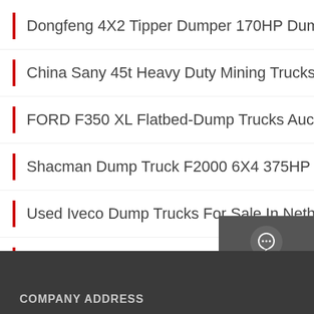Dongfeng 4X2 Tipper Dumper 170HP Dump Truck
China Sany 45t Heavy Duty Mining Trucks For Sale -
FORD F350 XL Flatbed-Dump Trucks Auction Results
Shacman Dump Truck F2000 6X4 375HP Heavy
Used Iveco Dump Trucks For Sale In Netherlands
Used ZZ3317N3567W 50 Ton Tipper Truck For Sale
[Figure (infographic): Sidebar widget with Chat, Email, Contact icons on dark grey background]
COMPANY ADDRESS